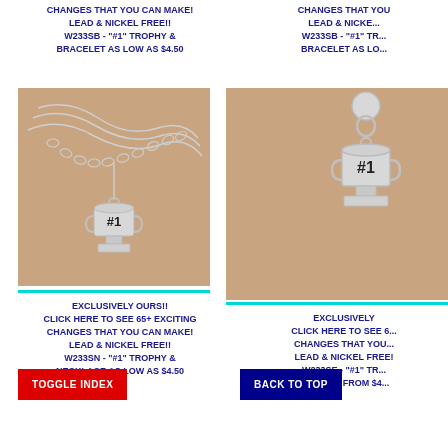CHANGES THAT YOU CAN MAKE!
LEAD & NICKEL FREE!!
W233SB - "#1" TROPHY &
BRACELET AS LOW AS $4.50
CHANGES THAT YOU CAN MAKE!
LEAD & NICKEL FREE!!
W233SB - "#1" TROPHY &
BRACELET AS LOW AS...
[Figure (photo): Photo of a silver #1 trophy charm on a silver chain necklace against a skin-toned background]
[Figure (photo): Photo of a silver #1 trophy charm earring against a skin-toned background]
EXCLUSIVELY OURS!!
CLICK HERE TO SEE 65+ EXCITING
CHANGES THAT YOU CAN MAKE!
LEAD & NICKEL FREE!!
W233SN - "#1" TROPHY &
NECKLACE AS LOW AS $4.50
EXCLUSIVELY OURS!!
CLICK HERE TO SEE 65+
CHANGES THAT YO...
LEAD & NICKEL FREE!!
W233SE - "#1" TROPHY &
EARRING FROM $4...